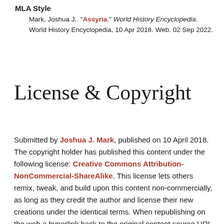MLA Style
Mark, Joshua J.. "Assyria." World History Encyclopedia. World History Encyclopedia, 10 Apr 2018. Web. 02 Sep 2022.
License & Copyright
Submitted by Joshua J. Mark, published on 10 April 2018. The copyright holder has published this content under the following license: Creative Commons Attribution-NonCommercial-ShareAlike. This license lets others remix, tweak, and build upon this content non-commercially, as long as they credit the author and license their new creations under the identical terms. When republishing on the web a hyperlink back to the original content source URL must be included. Please note that content linked from this page may have different licensing terms.